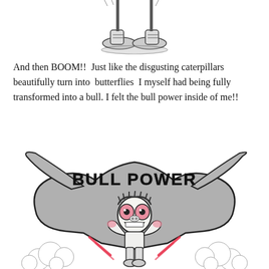[Figure (illustration): Pencil sketch of feet/shoes at the top of the page, partially cropped]
And then BOOM!!  Just like the disgusting caterpillars beautifully turn into  butterflies  I myself had being fully transformed into a bull. I felt the bull power inside of me!!
[Figure (illustration): Cartoon drawing of a character with wide pink eyes flexing muscles, standing inside a large bull skull/head shape with the text 'BULL POWER' on a banner across the horns. Clouds at the bottom and red accent marks around the figure.]